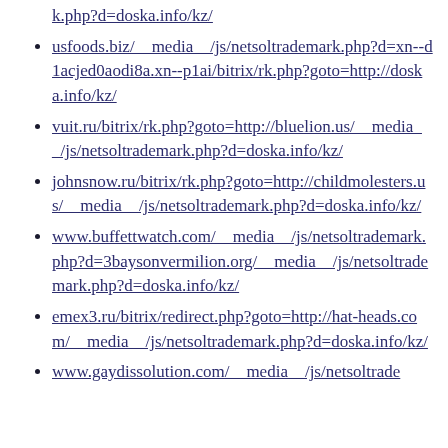…k.php?d=doska.info/kz/
usfoods.biz/__media__/js/netsoltrademark.php?d=xn--d1acjed0aodi8a.xn--p1ai/bitrix/rk.php?goto=http://doska.info/kz/
vuit.ru/bitrix/rk.php?goto=http://bluelion.us/__media__/js/netsoltrademark.php?d=doska.info/kz/
johnsnow.ru/bitrix/rk.php?goto=http://childmolesters.us/__media__/js/netsoltrademark.php?d=doska.info/kz/
www.buffettwatch.com/__media__/js/netsoltrademark.php?d=3baysonvermilion.org/__media__/js/netsoltrademark.php?d=doska.info/kz/
emex3.ru/bitrix/redirect.php?goto=http://hat-heads.com/__media__/js/netsoltrademark.php?d=doska.info/kz/
www.gaydissolution.com/__media__/js/netsoltrademark.php?…